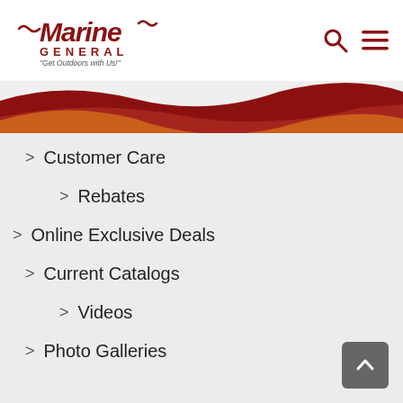[Figure (logo): Marine General logo with tagline 'Get Outdoors with Us!']
[Figure (illustration): Decorative wave banner in dark red and orange/gold colors]
> Customer Care
> Rebates
> Online Exclusive Deals
> Current Catalogs
> Videos
> Photo Galleries